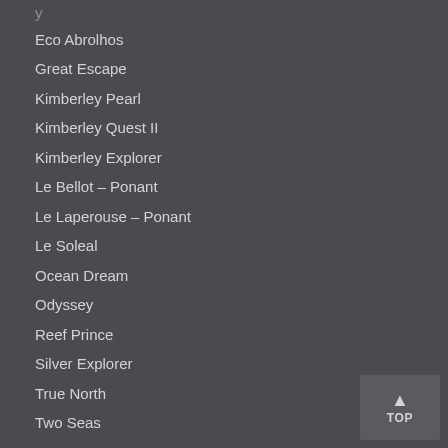Eco Abrolhos
Great Escape
Kimberley Pearl
Kimberley Quest II
Kimberley Explorer
Le Bellot – Ponant
Le Laperouse – Ponant
Le Soleal
Ocean Dream
Odyssey
Reef Prince
Silver Explorer
True North
Two Seas
RAIL JOURNEYS
The Ghan
Great Southern
Indian Pacific